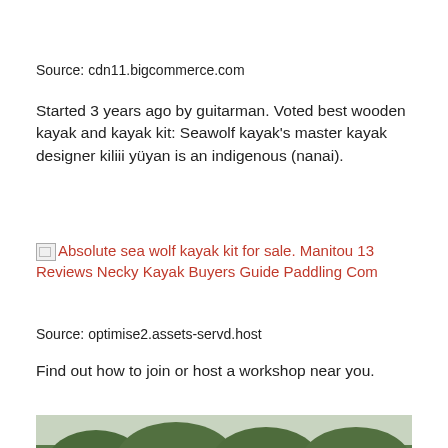Source: cdn11.bigcommerce.com
Started 3 years ago by guitarman. Voted best wooden kayak and kayak kit: Seawolf kayak's master kayak designer kiliii yüyan is an indigenous (nanai).
[Figure (photo): Broken image icon followed by red hyperlink text: Absolute sea wolf kayak kit for sale. Manitou 13 Reviews Necky Kayak Buyers Guide Paddling Com]
Source: optimise2.assets-servd.host
Find out how to join or host a workshop near you.
[Figure (photo): Outdoor photo showing a group of people near kayaks outdoors, with trees and parked cars in background. A man in white shirt with equipment is prominent in the foreground.]